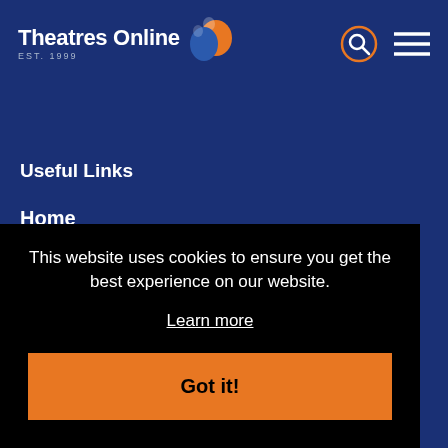[Figure (logo): Theatres Online logo with theatre mask icon, EST. 1999, with search and menu icons in header]
Useful Links
Home
About us
Blog
This website uses cookies to ensure you get the best experience on our website.
Learn more
Got it!
West End